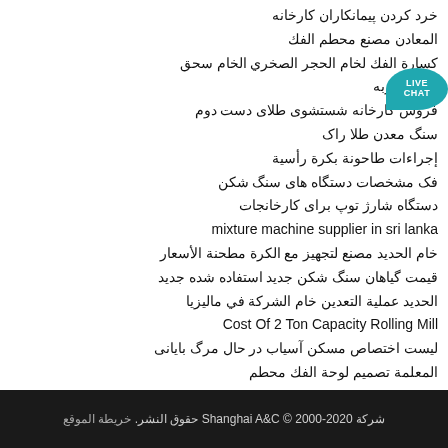خرد کردن پیمانکاران کارخانه
المعادن مصنع محطم الفك
كسارة الفك لخام الحجر الصخري الخام سحق
کننده ضربه
فروش کارخانه شستشوی طلای دست دوم
سنگ معدن طلا راک
إجراءات طاحونة بكرة رأسية
فک مشخصات دستگاه های سنگ شکن
دستگاه شارژ توپ برای کارخانجات
mixture machine supplier in sri lanka
خام الحديد مصنع لتجهيز مع الكرة مطحنة الأسعار
قیمت گیاهان سنگ شکن جدید استفاده شده جدید
الحديد عملية التعدين خام الشركة في ماليزيا
Cost Of 2 Ton Capacity Rolling Mill
لیست اختصاص مسکن آسیاب در حال مرگ بایانی
المعلمة تصميم لوحة الفك محطم
coal grind mills type
آسیاب غلتکی سنگ شکن سنگی
شرکة Shanghai A&C © 2000-2020 حقوق النشر. خريطة الموقع